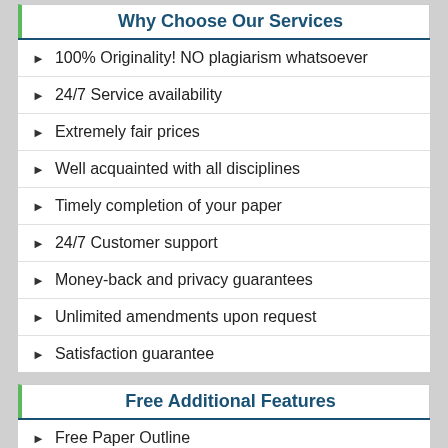Why Choose Our Services
100% Originality! NO plagiarism whatsoever
24/7 Service availability
Extremely fair prices
Well acquainted with all disciplines
Timely completion of your paper
24/7 Customer support
Money-back and privacy guarantees
Unlimited amendments upon request
Satisfaction guarantee
Free Additional Features
Free Paper Outline
Free Amendments on request
Free Title Page